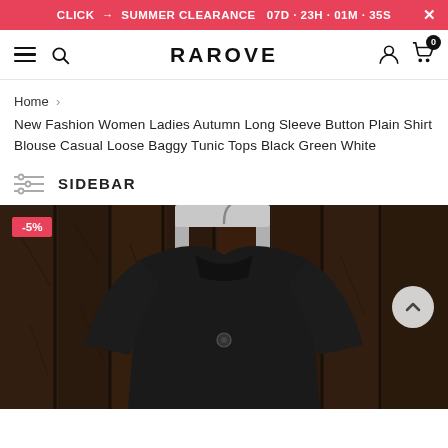CLICK → SUMMER CLEARANCE 07D · 23H · 01M · 35S
[Figure (screenshot): RAROVE e-commerce website navigation bar with hamburger menu, search icon, logo 'RAROVE', user account icon, and shopping cart with badge '0']
Home >
New Fashion Women Ladies Autumn Long Sleeve Button Plain Shirt Blouse Casual Loose Baggy Tunic Tops Black Green White
SIDEBAR
[Figure (photo): A black women's button-up long sleeve shirt/blouse hanging on a hanger against a dark wood plank background. A -5% discount badge is shown in the top left corner.]